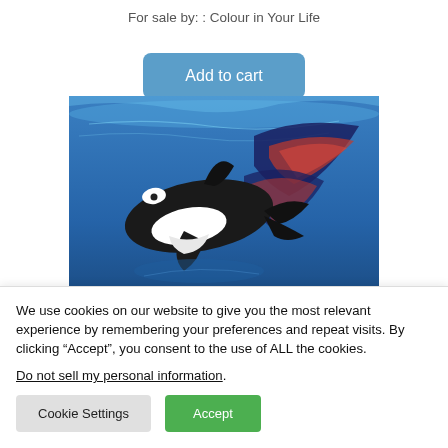For sale by: : Colour in Your Life
[Figure (other): Add to cart button (blue rounded rectangle)]
[Figure (photo): Painting of an orca killer whale underwater with decorative red and blue butterfly-wing-like markings on a blue ocean background]
We use cookies on our website to give you the most relevant experience by remembering your preferences and repeat visits. By clicking “Accept”, you consent to the use of ALL the cookies.
Do not sell my personal information.
[Figure (other): Cookie Settings button (light grey) and Accept button (green)]